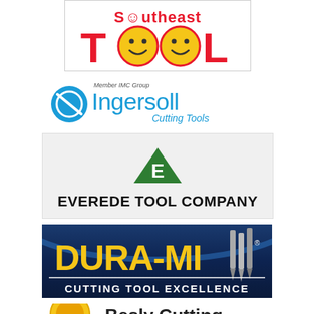[Figure (logo): Southeast Tool logo with red stylized text and yellow smiley faces as the Os]
[Figure (logo): Ingersoll Cutting Tools logo with blue text and circular icon, Member IMC Group]
[Figure (logo): Everede Tool Company logo with green downward-pointing triangle with E and bold black text]
[Figure (logo): Dura-Mill Cutting Tool Excellence logo with yellow bold text on dark blue background with drill bits]
[Figure (logo): Besly Cutting logo partially visible at bottom]